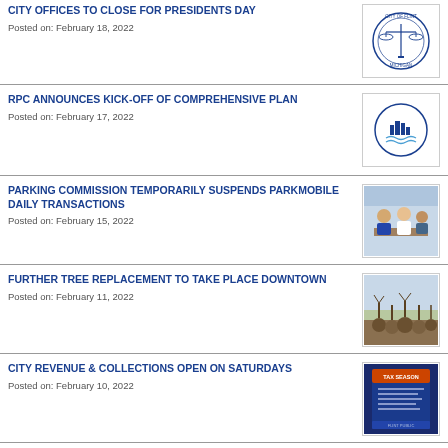CITY OFFICES TO CLOSE FOR PRESIDENTS DAY
Posted on: February 18, 2022
[Figure (logo): City seal/logo circular emblem]
RPC ANNOUNCES KICK-OFF OF COMPREHENSIVE PLAN
Posted on: February 17, 2022
[Figure (logo): RPC logo with city skyline and water]
PARKING COMMISSION TEMPORARILY SUSPENDS PARKMOBILE DAILY TRANSACTIONS
Posted on: February 15, 2022
[Figure (photo): People sitting at a table]
FURTHER TREE REPLACEMENT TO TAKE PLACE DOWNTOWN
Posted on: February 11, 2022
[Figure (photo): Trees with root balls lined up outdoors]
CITY REVENUE & COLLECTIONS OPEN ON SATURDAYS
Posted on: February 10, 2022
[Figure (photo): Tax season signage poster]